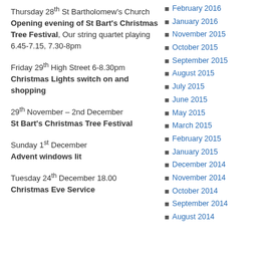Thursday 28th St Bartholomew's Church Opening evening of St Bart's Christmas Tree Festival, Our string quartet playing 6.45-7.15, 7.30-8pm
Friday 29th High Street 6-8.30pm Christmas Lights switch on and shopping
29th November – 2nd December St Bart's Christmas Tree Festival
Sunday 1st December Advent windows lit
Tuesday 24th December 18.00 Christmas Eve Service
February 2016
January 2016
November 2015
October 2015
September 2015
August 2015
July 2015
June 2015
May 2015
March 2015
February 2015
January 2015
December 2014
November 2014
October 2014
September 2014
August 2014